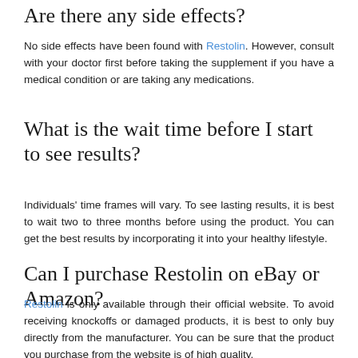Are there any side effects?
No side effects have been found with Restolin. However, consult with your doctor first before taking the supplement if you have a medical condition or are taking any medications.
What is the wait time before I start to see results?
Individuals' time frames will vary. To see lasting results, it is best to wait two to three months before using the product. You can get the best results by incorporating it into your healthy lifestyle.
Can I purchase Restolin on eBay or Amazon?
Restolin is only available through their official website. To avoid receiving knockoffs or damaged products, it is best to only buy directly from the manufacturer. You can be sure that the product you purchase from the website is of high quality.